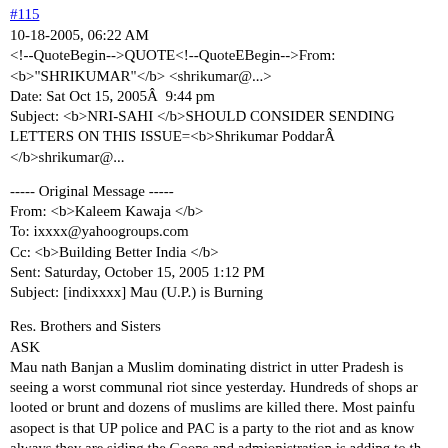#115
10-18-2005, 06:22 AM
<!--QuoteBegin-->QUOTE<!--QuoteEBegin-->From: <b>"SHRIKUMAR"</b> <shrikumar@...>
Date: Sat Oct 15, 2005Â  9:44 pm
Subject: <b>NRI-SAHI </b>SHOULD CONSIDER SENDING LETTERS ON THIS ISSUE=<b>Shrikumar PoddarÂ </b>shrikumar@...
----- Original Message -----
From: <b>Kaleem Kawaja </b>
To: ixxxx@yahoogroups.com
Cc: <b>Building Better India </b>
Sent: Saturday, October 15, 2005 1:12 PM
Subject: [indixxxx] Mau (U.P.) is Burning
Res. Brothers and Sisters
ASK
Mau nath Banjan a Muslim dominating district in utter Pradesh is seeing a worst communal riot since yesterday. Hundreds of shops ar looted or brunt and dozens of muslims are killed there. Most painfu asopect is that UP police and PAC is a party to the riot and as know always they are siding the Goons and admionistration is adding to th situation as the UP Home secretary and Director Genral of UP Polio visited the town this evening. As they left the town the polcie started targeting Muslim. Yes they and all are in the election mind so...